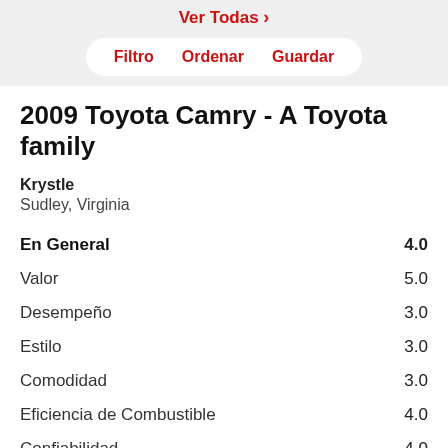Ver Todas >
Filtro   Ordenar   Guardar
2009 Toyota Camry - A Toyota family
Krystle
Sudley, Virginia
| Category | Rating |
| --- | --- |
| En General | 4.0 |
| Valor | 5.0 |
| Desempeño | 3.0 |
| Estilo | 3.0 |
| Comodidad | 3.0 |
| Eficiencia de Combustible | 4.0 |
| Confiabilidad | 4.0 |
[Figure (other): Gray placeholder box at bottom of page]